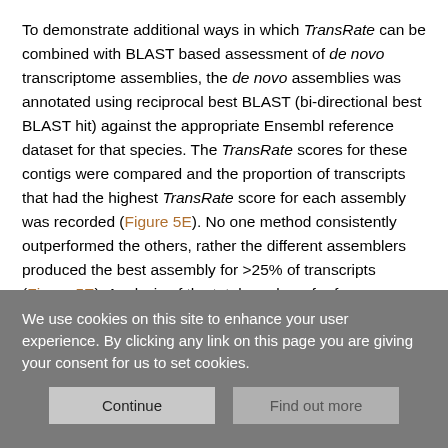To demonstrate additional ways in which TransRate can be combined with BLAST based assessment of de novo transcriptome assemblies, the de novo assemblies was annotated using reciprocal best BLAST (bi-directional best BLAST hit) against the appropriate Ensembl reference dataset for that species. The TransRate scores for these contigs were compared and the proportion of transcripts that had the highest TransRate score for each assembly was recorded (Figure 5E). No one method consistently outperformed the others, rather the different assemblers produced the best assembly for >25% of transcripts (Figure 5E). Analysis of the total number of reference transcripts that were assembled by the different methods
We use cookies on this site to enhance your user experience. By clicking any link on this page you are giving your consent for us to set cookies.